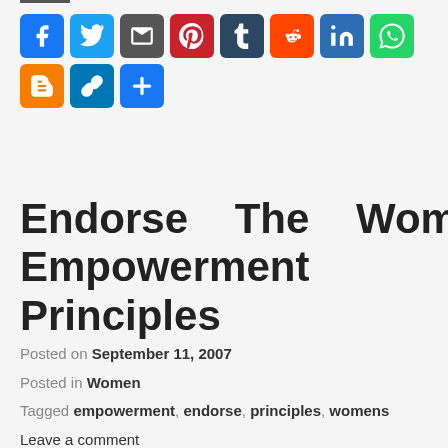[Figure (other): Social media sharing icon buttons: Facebook, Twitter, Email, Pinterest, Tumblr, Reddit, LinkedIn, WhatsApp, Blogger, Copy Link, and a plus/more button]
Endorse The Women's Empowerment Principles
Posted on September 11, 2007
Posted in Women
Tagged empowerment, endorse, principles, womens
Leave a comment